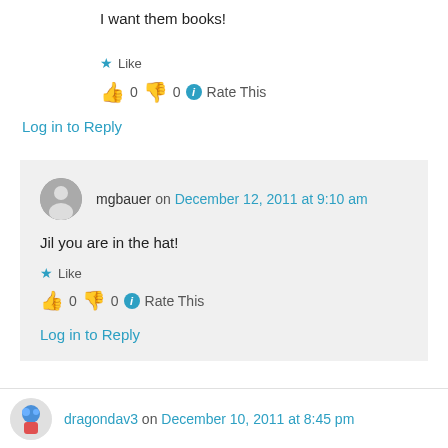I want them books!
★ Like
👍 0 👎 0 ℹ Rate This
Log in to Reply
mgbauer on December 12, 2011 at 9:10 am
Jil you are in the hat!
★ Like
👍 0 👎 0 ℹ Rate This
Log in to Reply
dragondav3 on December 10, 2011 at 8:45 pm